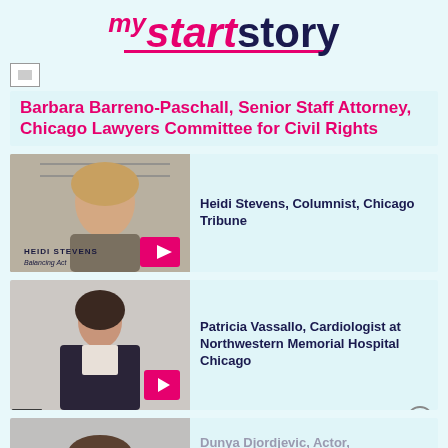[Figure (logo): myStartStory logo with 'my' in small italic pink, 'start' in large italic pink bold, 'story' in large dark navy bold, pink underline beneath 'start']
[Figure (photo): Small broken image icon placeholder]
Barbara Barreno-Paschall, Senior Staff Attorney, Chicago Lawyers Committee for Civil Rights
[Figure (screenshot): Video thumbnail of Heidi Stevens with text 'HEIDI STEVENS Balancing Act' and a pink play button]
Heidi Stevens, Columnist, Chicago Tribune
[Figure (photo): Video thumbnail of Patricia Vassallo, a woman in a dark blazer, with a pink play button]
Patricia Vassallo, Cardiologist at Northwestern Memorial Hospital Chicago
[Figure (photo): Partial video thumbnail of Dunya Djordjevic, partially visible at bottom]
Dunya Djordjevic, Actor,